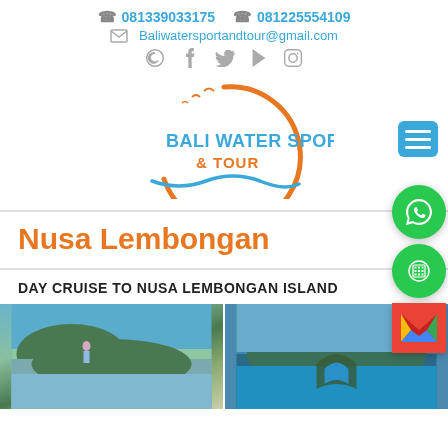081339033175  081225554109  Baliwatersportandtour@gmail.com
[Figure (logo): Bali Water Sport & Tour logo with orange circle and blue text]
Nusa Lembongan
DAY CRUISE TO NUSA LEMBONGAN ISLAND
[Figure (photo): Two photos of Nusa Lembongan island coastal scenery with turquoise water and rock formations]